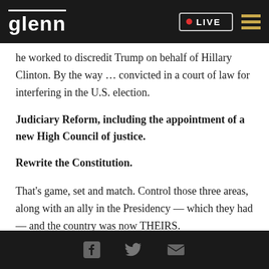glenn • LIVE
he worked to discredit Trump on behalf of Hillary Clinton. By the way ... convicted in a court of law for interfering in the U.S. election.
Judiciary Reform, including the appointment of a new High Council of justice.
Rewrite the Constitution.
That's game, set and match. Control those three areas, along with an ally in the Presidency — which they had — and the country was now THEIRS.
Facebook Twitter Email icons